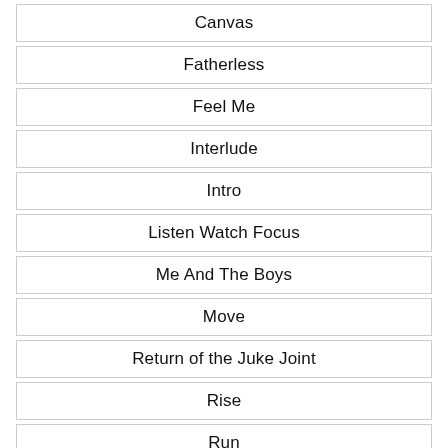Canvas
Fatherless
Feel Me
Interlude
Intro
Listen Watch Focus
Me And The Boys
Move
Return of the Juke Joint
Rise
Run